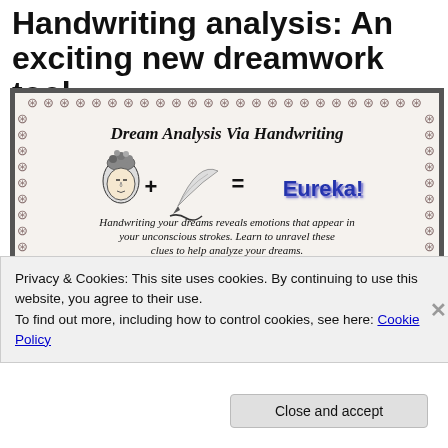Handwriting analysis: An exciting new dreamwork tool
[Figure (infographic): Decorative bordered card titled 'Dream Analysis Via Handwriting' showing: face icon + quill pen = Eureka! with italic text 'Handwriting your dreams reveals emotions that appear in your unconscious strokes. Learn to unravel these clues to help analyze your dreams.' and bold text 'Do the words in your written dreams hold' followed by list items: 'Anger, temper, defiance, resentment, jealousy, or aggression? Generosity, tolerance, desire for change, or determination? Worry, secrecy, self-deceit, caution, or withdrawal?']
Privacy & Cookies: This site uses cookies. By continuing to use this website, you agree to their use.
To find out more, including how to control cookies, see here: Cookie Policy
Close and accept